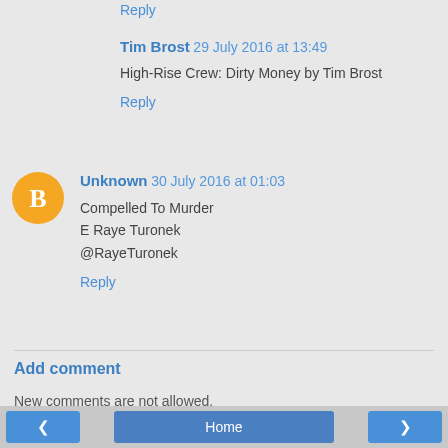Reply
Tim Brost 29 July 2016 at 13:49
High-Rise Crew: Dirty Money by Tim Brost
Reply
[Figure (illustration): Orange circular avatar with Blogger 'B' logo icon]
Unknown 30 July 2016 at 01:03
Compelled To Murder
E Raye Turonek
@RayeTuronek
Reply
Add comment
New comments are not allowed.
< Home >